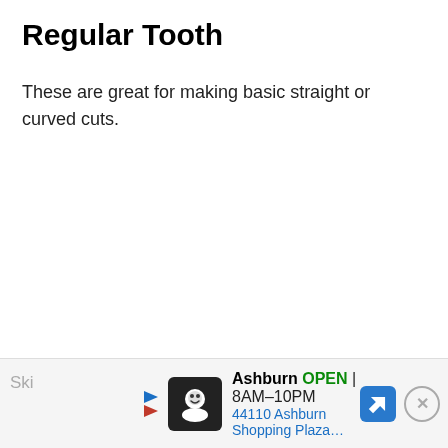Regular Tooth
These are great for making basic straight or curved cuts.
Ski… Ashburn OPEN 8AM–10PM 44110 Ashburn Shopping Plaza…